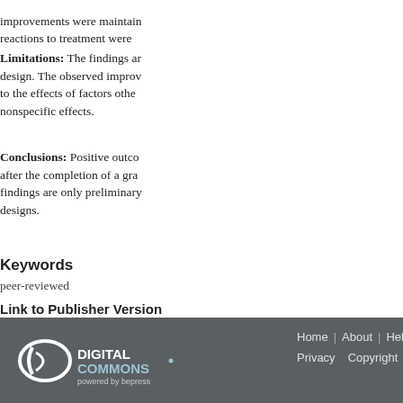improvements were maintained at follow-up and adverse reactions to treatment were...
Limitations: The findings are limited by the study design. The observed improvements may be attributable to the effects of factors other than treatment, including nonspecific effects.
Conclusions: Positive outcomes were demonstrated after the completion of a graded exercise program. These findings are only preliminary and require more robust designs.
Keywords
peer-reviewed
Link to Publisher Version
http://ptjournal.apta.org/cont...
Digital Commons powered by bepress | Home | About | Help | My Account | Privacy | Copyright